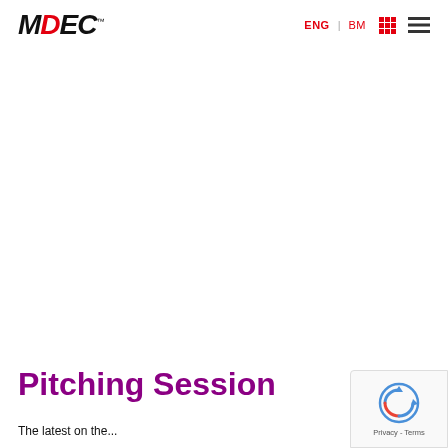MDEC ENG | BM
Pitching Session
The latest on the...